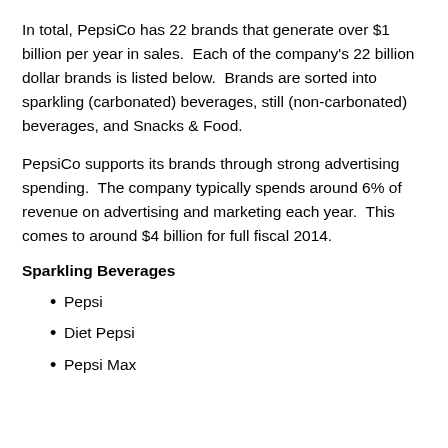In total, PepsiCo has 22 brands that generate over $1 billion per year in sales.  Each of the company's 22 billion dollar brands is listed below.  Brands are sorted into sparkling (carbonated) beverages, still (non-carbonated) beverages, and Snacks & Food.
PepsiCo supports its brands through strong advertising spending.  The company typically spends around 6% of revenue on advertising and marketing each year.  This comes to around $4 billion for full fiscal 2014.
Sparkling Beverages
Pepsi
Diet Pepsi
Pepsi Max